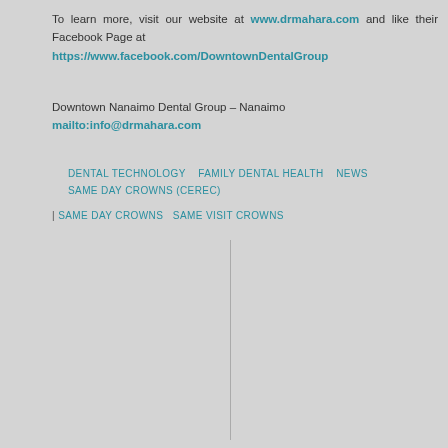To learn more, visit our website at www.drmahara.com and like their Facebook Page at https://www.facebook.com/DowntownDentalGroup
Downtown Nanaimo Dental Group – Nanaimo mailto:info@drmahara.com
DENTAL TECHNOLOGY   FAMILY DENTAL HEALTH   NEWS   SAME DAY CROWNS (CEREC)
| SAME DAY CROWNS SAME VISIT CROWNS